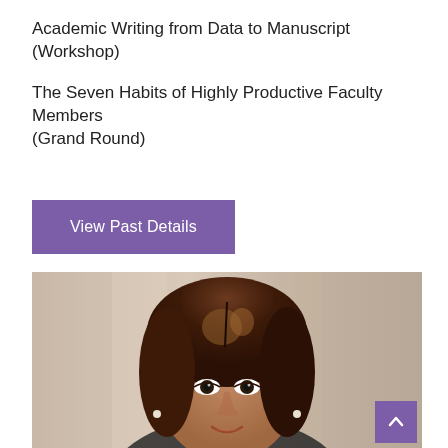Academic Writing from Data to Manuscript (Workshop)
The Seven Habits of Highly Productive Faculty Members (Grand Round)
View Past Details
[Figure (photo): Portrait photo of a woman with brown hair, smiling, photographed from the shoulders up against a blurred indoor background.]